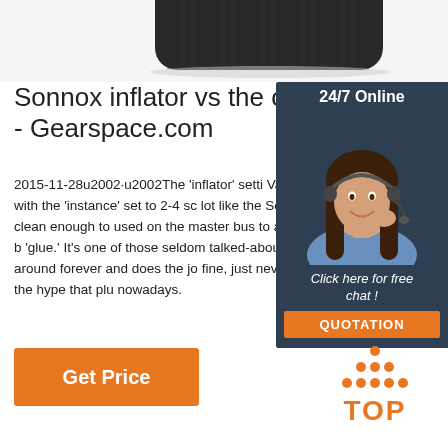[Figure (photo): Partial product photo showing a dark/black rectangular device against white background, cropped at top]
Sonnox inflator vs the oth - Gearspace.com
2015-11-28u2002·u2002The 'inflator' setti Varisaturor with the 'instance' set to 2-4 sc lot like the Sonnox, and is clean enough to used on the master bus to add that extra b 'glue.' It's one of those seldom talked-abou that's been around forever and does the jo fine, just never quite had the hype that plu nowadays.
[Figure (photo): Chat widget with female customer service agent wearing headset, dark blue background, '24/7 Online' header, 'Click here for free chat!' text, and orange QUOTATION button]
[Figure (other): Orange 'Get Price' button]
[Figure (logo): TOP logo with orange dots arranged in triangle above the word TOP in orange text]